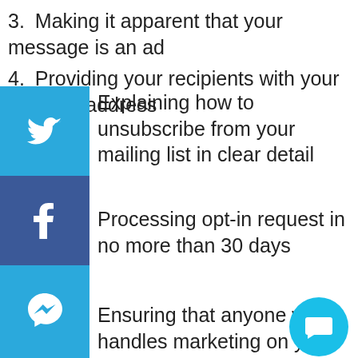3. Making it apparent that your message is an ad
4. Providing your recipients with your physical address
Explaining how to unsubscribe from your mailing list in clear detail
Processing opt-in request in no more than 30 days
Ensuring that anyone who handles marketing on your behalf abides by the same rules
There are many different reasons why your recipients might label your emails as spam, and you can't expect to prevent them all. You can ensure that your emails are as little spammy as